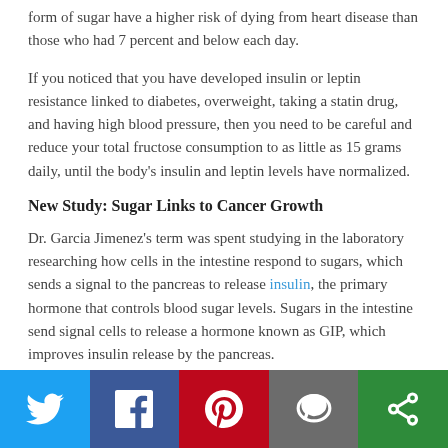form of sugar have a higher risk of dying from heart disease than those who had 7 percent and below each day.
If you noticed that you have developed insulin or leptin resistance linked to diabetes, overweight, taking a statin drug, and having high blood pressure, then you need to be careful and reduce your total fructose consumption to as little as 15 grams daily, until the body's insulin and leptin levels have normalized.
New Study: Sugar Links to Cancer Growth
Dr. Garcia Jimenez's term was spent studying in the laboratory researching how cells in the intestine respond to sugars, which sends a signal to the pancreas to release insulin, the primary hormone that controls blood sugar levels. Sugars in the intestine send signal cells to release a hormone known as GIP, which improves insulin release by the pancreas.
Dr. Garcia Jimenez's team proved in a study published in
[Figure (infographic): Social media sharing bar with Twitter, Facebook, Pinterest, SMS, and email buttons in their respective brand colors]